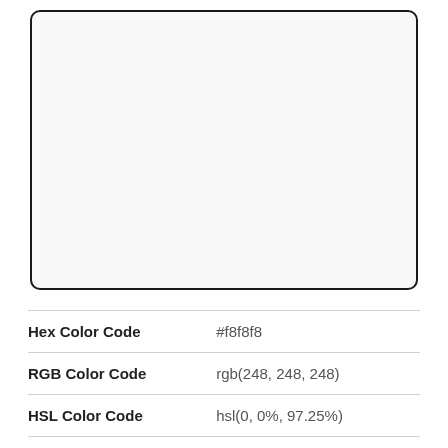[Figure (illustration): A large rounded rectangle swatch filled with color #f8f8f8 (near-white light gray), outlined with a dark border.]
| Hex Color Code | #f8f8f8 |
| RGB Color Code | rgb(248, 248, 248) |
| HSL Color Code | hsl(0, 0%, 97.25%) |